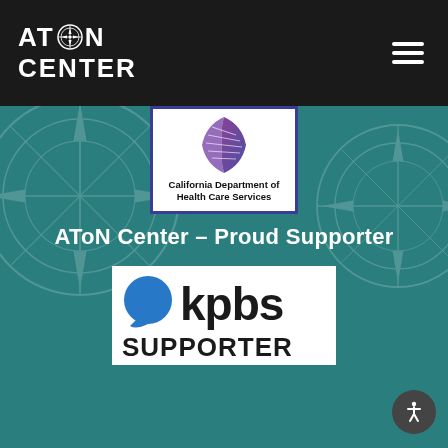[Figure (logo): AToN Center logo with compass rose icon, white text on black background, with hamburger menu icon on right]
[Figure (logo): California Department of Health Care Services logo - purple leaf/feather emblem with text below on white background with dark blue border]
AToN Center – Proud Supporter
[Figure (logo): KPBS Supporter logo - blue speech bubble icon next to bold black kpbs text, with SUPPORTER text below, on white background]